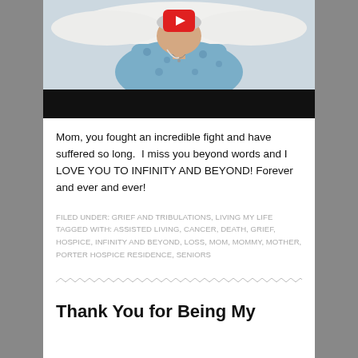[Figure (photo): Thumbnail of an elderly woman in a blue floral robe lying in bed, with a YouTube play button overlay. A black bar appears below the photo.]
Mom, you fought an incredible fight and have suffered so long.  I miss you beyond words and I LOVE YOU TO INFINITY AND BEYOND! Forever and ever and ever!
FILED UNDER: GRIEF AND TRIBULATIONS, LIVING MY LIFE
TAGGED WITH: ASSISTED LIVING, CANCER, DEATH, GRIEF, HOSPICE, INFINITY AND BEYOND, LOSS, MOM, MOMMY, MOTHER, PORTER HOSPICE RESIDENCE, SENIORS
Thank You for Being My